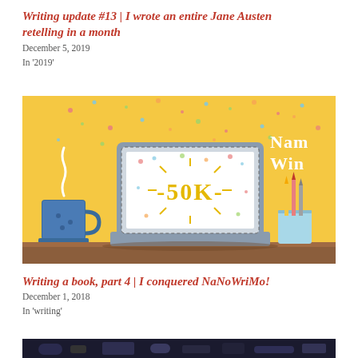Writing update #13 | I wrote an entire Jane Austen retelling in a month
December 5, 2019
In '2019'
[Figure (illustration): NaNoWriMo winner illustration: a laptop on a desk showing '50K' on its screen with confetti, a blue coffee mug on the left, a pencil holder on the right, and 'NaNo WiN' text in the top right corner, all on a yellow background.]
Writing a book, part 4 | I conquered NaNoWriMo!
December 1, 2018
In 'writing'
[Figure (photo): Partial photo visible at bottom of page, dark tones, appears to show a desk or work surface.]